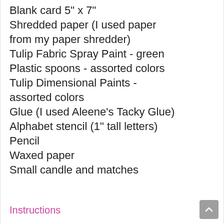Blank card 5" x 7"
Shredded paper (I used paper from my paper shredder)
Tulip Fabric Spray Paint - green
Plastic spoons - assorted colors
Tulip Dimensional Paints - assorted colors
Glue (I used Aleene's Tacky Glue)
Alphabet stencil (1" tall letters)
Pencil
Waxed paper
Small candle and matches
Instructions